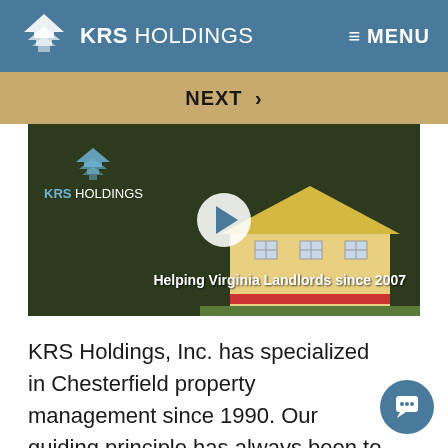KRS HOLDINGS  ≡ MENU
NEXT ›
[Figure (screenshot): Video thumbnail showing KRS Holdings logo on dark green background with a model house and overlay text 'Helping Virginia Landlords since 2007'. A white circular play button is centered on the thumbnail.]
KRS Holdings, Inc. has specialized in Chesterfield property management since 1990. Our guiding principle has always been to maximize the value of our clients' residential assets, while we minimize the time commitment. Apartments, single family